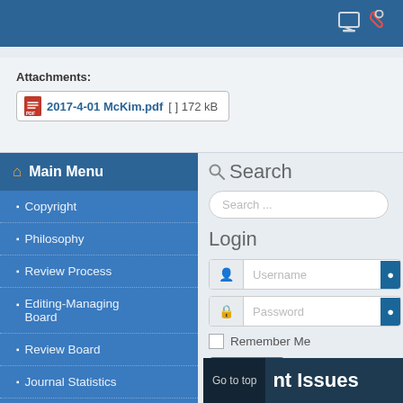[Figure (screenshot): Top navigation bar with blue background and monitor/wrench icons on right]
Attachments:
2017-4-01 McKim.pdf [ ] 172 kB
Main Menu
Copyright
Philosophy
Review Process
Editing-Managing Board
Review Board
Journal Statistics
Journal History
Search
Search ...
Login
Username
Password
Remember Me
Log in
Go to top
ent Issues